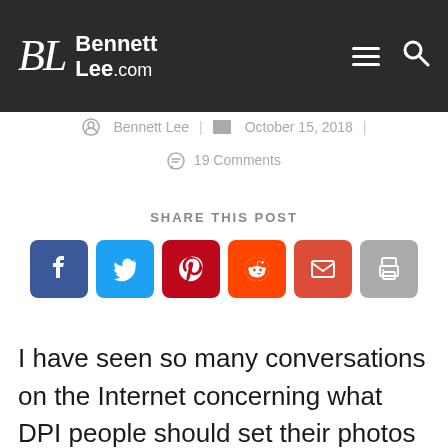Bennett Lee .com
Bennett Lee | October 15, 2018 | 19 Comments
SHARE THIS POST
[Figure (infographic): Social share buttons: Facebook, Twitter, Pinterest, Reddit, Email, Print]
I have seen so many conversations on the Internet concerning what DPI people should set their photos to. It seems every idiot with a keyboard chimes in, and I'm about to become one of those idiots…